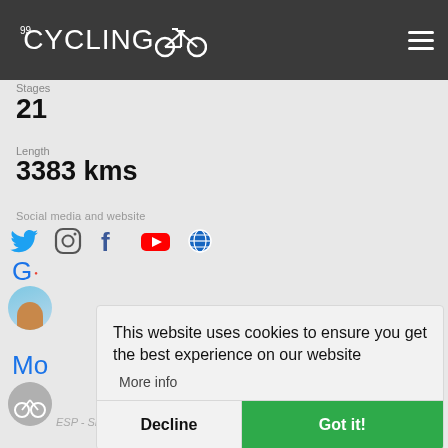[Figure (logo): CyclingOO website logo with bicycle icon in white on dark grey header bar]
Stages
21
Length
3383 kms
Social media and website
[Figure (infographic): Social media icons: Twitter (blue bird), Instagram (circle), Facebook (f), YouTube (red), and a globe/website icon]
This website uses cookies to ensure you get the best experience on our website
More info
Decline
Got it!
ESP - SKY